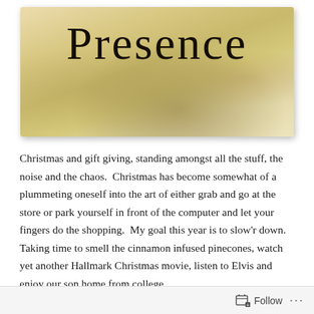[Figure (illustration): Aged parchment/paper background with a handwritten-style cursive title 'Presence' in black ink at the top center, with yellowed and stained texture suggesting an old document or book cover]
Christmas and gift giving, standing amongst all the stuff, the noise and the chaos.  Christmas has become somewhat of a plummeting oneself into the art of either grab and go at the store or park yourself in front of the computer and let your fingers do the shopping.  My goal this year is to slow'r down. Taking time to smell the cinnamon infused pinecones, watch yet another Hallmark Christmas movie, listen to Elvis and enjoy our son home from college.
Follow ...